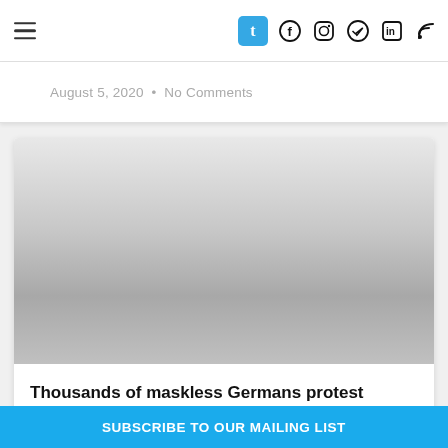Navigation bar with hamburger menu, Tumblr icon, and social media icons (Facebook, Instagram, Telegram, LinkedIn, RSS)
August 5, 2020  •  No Comments
[Figure (photo): Article thumbnail image with gradient placeholder (light gray to darker gray)]
Thousands of maskless Germans protest COVID-19 rules in Berlin
SUBSCRIBE TO OUR MAILING LIST